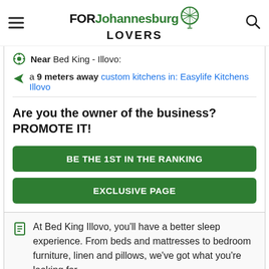FOR Johannesburg LOVERS
Near Bed King - Illovo:
a 9 meters away custom kitchens in: Easylife Kitchens Illovo
Are you the owner of the business? PROMOTE IT!
BE THE 1ST IN THE RANKING
EXCLUSIVE PAGE
At Bed King Illovo, you'll have a better sleep experience. From beds and mattresses to bedroom furniture, linen and pillows, we've got what you're looking for.